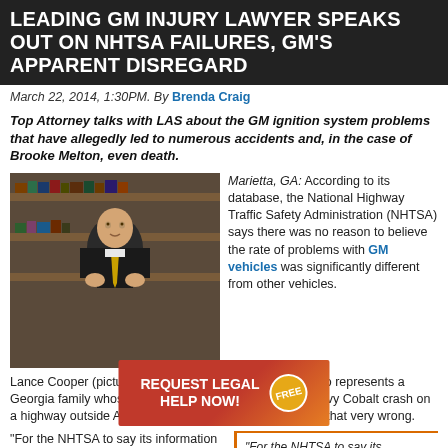LEADING GM INJURY LAWYER SPEAKS OUT ON NHTSA FAILURES, GM'S APPARENT DISREGARD
March 22, 2014, 1:30PM. By Brenda Craig
Top Attorney talks with LAS about the GM ignition system problems that have allegedly led to numerous accidents and, in the case of Brooke Melton, even death.
[Figure (photo): Professional man in dark suit with crossed arms, sitting in front of bookshelves, smiling]
Marietta, GA: According to its database, the National Highway Traffic Safety Administration (NHTSA) says there was no reason to believe the rate of problems with GM vehicles was significantly different from other vehicles.
Lance Cooper (pictured at left), however, the attorney who represents a Georgia family whose 29-year-old daughter died in a Chevy Cobalt crash on a highway outside Atlanta in 2010, thinks the NHTSA got that very wrong.
“For the NHTSA to say its information did not show a problem… indicative of a problem…
“For the NHTSA to say its information did not show a problem… is, frankly, indicative of a problem,” says Cooper…
[Figure (infographic): Red and orange CTA banner reading REQUEST LEGAL HELP NOW! with FREE starburst badge]